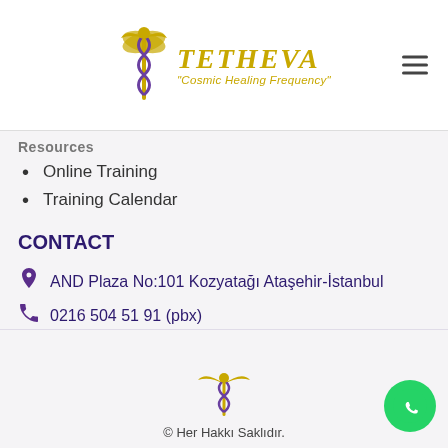TETHEVA "Cosmic Healing Frequency"
Resources
Online Training
Training Calendar
CONTACT
AND Plaza No:101 Kozyatağı Ataşehir-İstanbul
0216 504 51 91 (pbx)
0553 916 26 23
info@tetheva.com
© Her Hakkı Saklıdır.